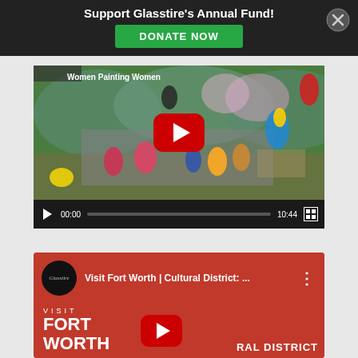[Figure (screenshot): Glasstire Annual Fund donation banner overlay with dark background, bold white text 'Support Glasstire's Annual Fund!', green DONATE NOW button, and X close button]
[Figure (screenshot): YouTube video player showing 'Women Painting Women' video with colorful painting thumbnail featuring parrots and figures, red play button, and controls showing 00:00 / 10:44]
[Figure (screenshot): YouTube video embed for 'Visit Fort Worth | Cultural District: ...' by Glasstire channel, showing red thumbnail with VISIT FORT WORTH text and YouTube play button, and RAL DISTRICT text]